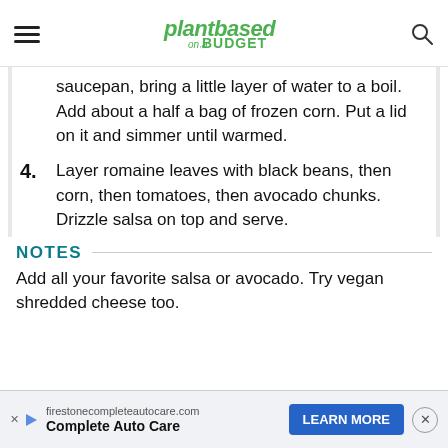Plant Based on a BUDGET
saucepan, bring a little layer of water to a boil. Add about a half a bag of frozen corn. Put a lid on it and simmer until warmed.
4. Layer romaine leaves with black beans, then corn, then tomatoes, then avocado chunks. Drizzle salsa on top and serve.
NOTES
Add all your favorite salsa or avocado. Try vegan shredded cheese too.
firestonecompleteautocare.com Complete Auto Care LEARN MORE